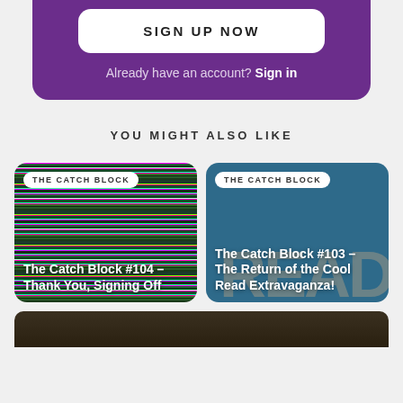[Figure (screenshot): Purple signup section with white rounded button labeled SIGN UP NOW and text below reading Already have an account? Sign in]
YOU MIGHT ALSO LIKE
[Figure (illustration): Article card with glitch/static TV noise background image, tag THE CATCH BLOCK, title: The Catch Block #104 – Thank You, Signing Off]
[Figure (illustration): Article card with blue background showing READ letters, tag THE CATCH BLOCK, title: The Catch Block #103 – The Return of the Cool Read Extravaganza!]
[Figure (photo): Partial bottom strip showing dark image, cut off at bottom of page]